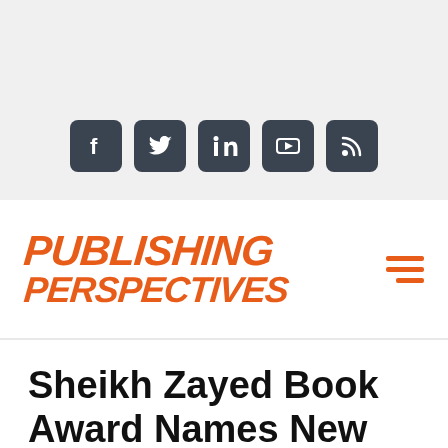[Figure (screenshot): Social media icons: Facebook, Twitter, LinkedIn, YouTube, RSS feed — white icons on dark grey rounded square backgrounds, displayed on a light grey bar]
[Figure (logo): Publishing Perspectives logo in orange bold italic uppercase text, with a hamburger menu icon in orange on the right]
Sheikh Zayed Book Award Names New Scientific Committee Members